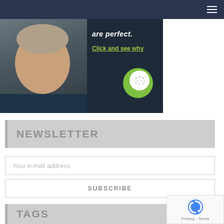[Figure (photo): Banner advertisement showing a smiling middle-aged man in a dark shirt on the left, with text 'are perfect. Click and see why' and a green speech bubble with golf ball icon on the right, on a dark background.]
NEWSLETTER
Your e-mail address
SUBSCRIBE
TAGS